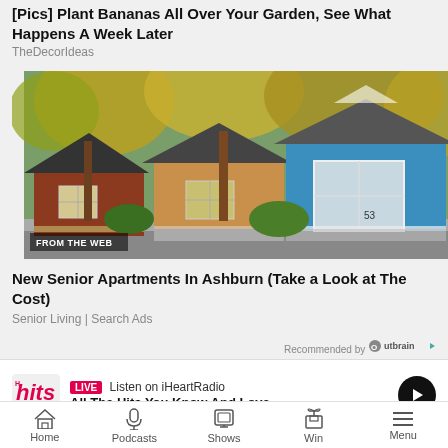[Pics] Plant Bananas All Over Your Garden, See What Happens A Week Later
TheDecorIdeas
[Figure (photo): Row of colorful small cottage homes - red, tan, blue - under autumn trees. Text overlay 'FROM THE WEB'.]
New Senior Apartments In Ashburn (Take a Look at The Cost)
Senior Living | Search Ads
Recommended by Outbrain
LIVE Listen on iHeartRadio All The Hits You Know And Love
Home   Podcasts   Shows   Win   Menu